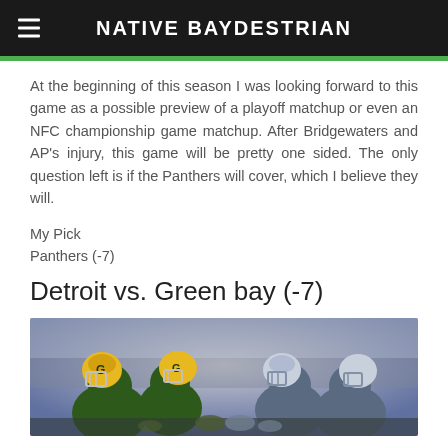NATIVE BAYDESTRIAN
At the beginning of this season I was looking forward to this game as a possible preview of a playoff matchup or even an NFC championship game matchup. After Bridgewaters and AP's injury, this game will be pretty one sided. The only question left is if the Panthers will cover, which I believe they will.
My Pick
Panthers (-7)
Detroit vs. Green bay (-7)
[Figure (photo): Green Bay Packers players in yellow helmets facing off against Detroit Lions players in silver/blue helmets at the line of scrimmage]